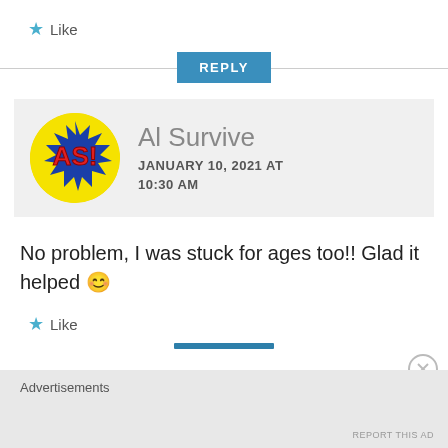★ Like
REPLY
[Figure (illustration): Avatar of Al Survive: yellow circle with comic-style 'AS!' text in red with blue spiky burst background]
Al Survive
JANUARY 10, 2021 AT 10:30 AM
No problem, I was stuck for ages too!! Glad it helped 😊
★ Like
Advertisements